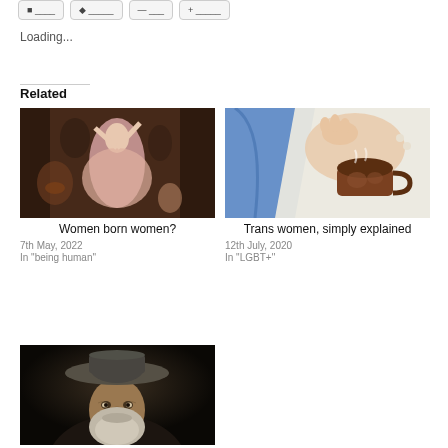Loading...
Related
[Figure (photo): Classical painting of women dancing/performing in a hall with musicians]
Women born women?
7th May, 2022
In "being human"
[Figure (photo): Classical painting of a woman holding a decorative cup/vessel]
Trans women, simply explained
12th July, 2020
In "LGBT+"
[Figure (photo): Classical portrait painting of an old bearded man wearing a hat]